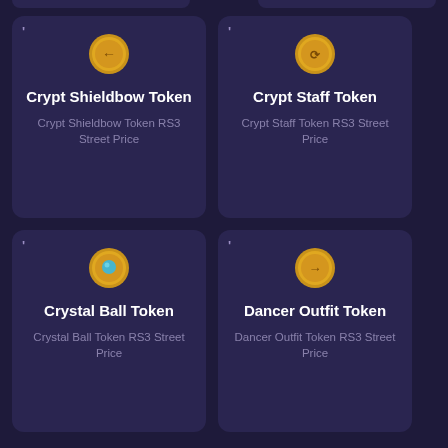[Figure (illustration): Card for Crypt Shieldbow Token showing a gold coin icon, bold title 'Crypt Shieldbow Token', subtitle 'Crypt Shieldbow Token RS3 Street Price']
[Figure (illustration): Card for Crypt Staff Token showing a gold coin icon, bold title 'Crypt Staff Token', subtitle 'Crypt Staff Token RS3 Street Price']
[Figure (illustration): Card for Crystal Ball Token showing a gold coin with blue gem icon, bold title 'Crystal Ball Token', subtitle 'Crystal Ball Token RS3 Street Price']
[Figure (illustration): Card for Dancer Outfit Token showing a gold coin icon, bold title 'Dancer Outfit Token', subtitle 'Dancer Outfit Token RS3 Street Price']